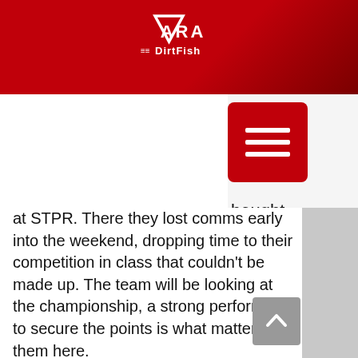ARA DirtFish
ary of
2017,
here.
will beought
at STPR. There they lost comms early into the weekend, dropping time to their competition in class that couldn't be made up. The team will be looking at the championship, a strong performance to secure the points is what matters for them here.
Keanna Erickson-Chang is switching up the Gelsominos this weekend, bringing sitting O2wd class champion Rhianon into the co-drivers chair after placing second in O2wd at STPR with Alex, who is driving with Ken Block this weekend. The strong